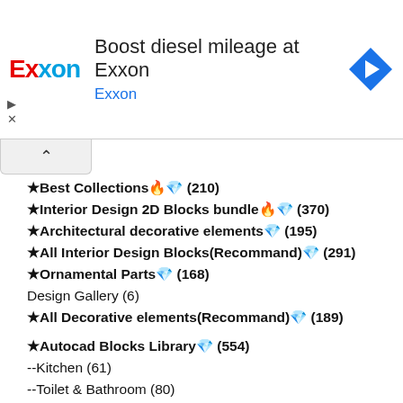[Figure (other): Exxon advertisement banner with Exxon logo, text 'Boost diesel mileage at Exxon', subtitle 'Exxon', and a blue navigation arrow icon on the right]
★Best Collections🔥💎 (210)
★Interior Design 2D Blocks bundle🔥💎 (370)
★Architectural decorative elements💎 (195)
★All Interior Design Blocks(Recommand)💎 (291)
★Ornamental Parts💎 (168)
Design Gallery (6)
★All Decorative elements(Recommand)💎 (189)
★Autocad Blocks Library💎 (554)
--Kitchen (61)
--Toilet & Bathroom (80)
--Furniture (333)
Bedroom Furniture (96)
--Sofa (107)
--Lights & Lamps (105)